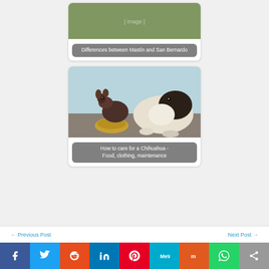[Figure (photo): Thumbnail image of dogs - Mastin and San Bernardo]
Differences between Mastín and San Bernardo
[Figure (photo): Photo of Chihuahua puppies eating from a bowl, with a larger dog nearby]
How to care for a Chihuahua - Food, clothing, maintenance
← Previous Post    Next Post →
[Figure (infographic): Social sharing bar with Facebook, Twitter, Reddit, LinkedIn, Pinterest, MeWe, Mix, WhatsApp, and Share buttons]